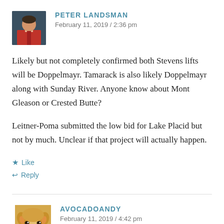[Figure (photo): Avatar photo of Peter Landsman, a person in a red jacket]
PETER LANDSMAN
February 11, 2019 / 2:36 pm
Likely but not completely confirmed both Stevens lifts will be Doppelmayr. Tamarack is also likely Doppelmayr along with Sunday River. Anyone know about Mont Gleason or Crested Butte?

Leitner-Poma submitted the low bid for Lake Placid but not by much. Unclear if that project will actually happen.
★ Like
↩ Reply
[Figure (photo): Avatar photo of AvocadoAndy, a Shiba Inu dog (doge meme)]
AVOCADOANDY
February 11, 2019 / 4:42 pm